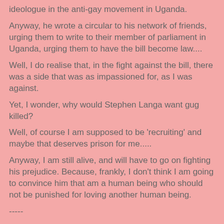ideologue in the anti-gay movement in Uganda.
Anyway, he wrote a circular to his network of friends, urging them to write to their member of parliament in Uganda, urging them to have the bill become law....
Well, I do realise that, in the fight against the bill, there was a side that was as impassioned for, as I was against.
Yet, I wonder, why would Stephen Langa want gug killed?
Well, of course I am supposed to be 'recruiting' and maybe that deserves prison for me.....
Anyway, I am still alive, and will have to go on fighting his prejudice. Because, frankly, I don't think I am going to convince him that am a human being who should not be punished for loving another human being.
-----
Emails call....
-----